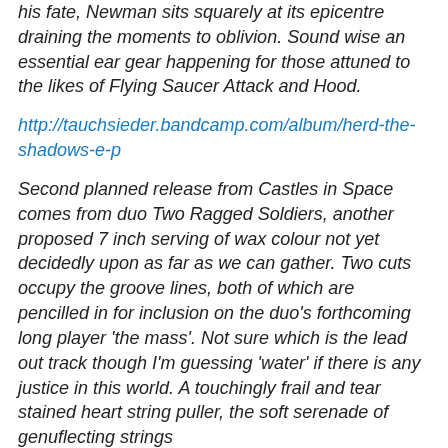his fate, Newman sits squarely at its epicentre draining the moments to oblivion. Sound wise an essential ear gear happening for those attuned to the likes of Flying Saucer Attack and Hood.
http://tauchsieder.bandcamp.com/album/herd-the-shadows-e-p
Second planned release from Castles in Space comes from duo Two Ragged Soldiers, another proposed 7 inch serving of wax colour not yet decidedly upon as far as we can gather. Two cuts occupy the groove lines, both of which are pencilled in for inclusion on the duo's forthcoming long player 'the mass'. Not sure which is the lead out track though I'm guessing 'water' if there is any justice in this world. A touchingly frail and tear stained heart string puller, the soft serenade of genuflecting strings